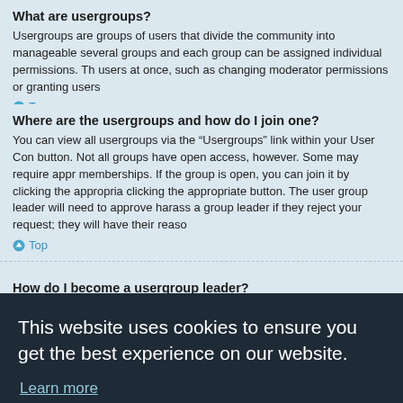What are usergroups?
Usergroups are groups of users that divide the community into manageable several groups and each group can be assigned individual permissions. Th users at once, such as changing moderator permissions or granting users
Top
Where are the usergroups and how do I join one?
You can view all usergroups via the “Usergroups” link within your User Con button. Not all groups have open access, however. Some may require appr memberships. If the group is open, you can join it by clicking the appropria clicking the appropriate button. The user group leader will need to approve harass a group leader if they reject your request; they will have their reaso
Top
How do I become a usergroup leader?
[Figure (screenshot): Cookie consent overlay with dark background. Text: 'This website uses cookies to ensure you get the best experience on our website.' with 'Learn more' link. Below is a cyan 'Got it!' button.]
If you are a member of more than one usergroup, your default is used to d